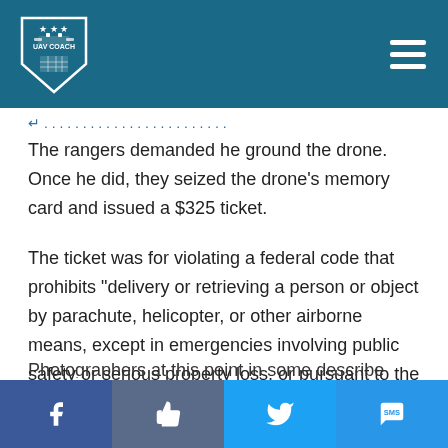UAV COACH
The rangers demanded he ground the drone. Once he did, they seized the drone's memory card and issued a $325 ticket.
The ticket was for violating a federal code that prohibits “delivery or retrieving a person or object by parachute, helicopter, or other airborne means, except in emergencies involving public safety or serious property loss, or pursuant to the terms and conditions of a permit.”
Social share bar: Facebook, Like, Twitter, SMS